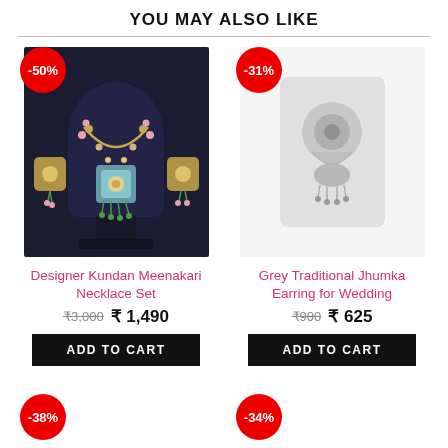YOU MAY ALSO LIKE
[Figure (photo): Designer Kundan Meenakari Necklace Set on a dark display bust with matching earrings, discount badge -50%]
Designer Kundan Meenakari Necklace Set
₹3,000  ₹ 1,490
ADD TO CART
[Figure (photo): Grey Traditional Jhumka Earring for Wedding product placeholder, discount badge -31%]
Grey Traditional Jhumka Earring for Wedding
₹900  ₹ 625
ADD TO CART
[Figure (photo): Product with -38% discount badge, bottom left]
[Figure (photo): Product with -34% discount badge, bottom right]